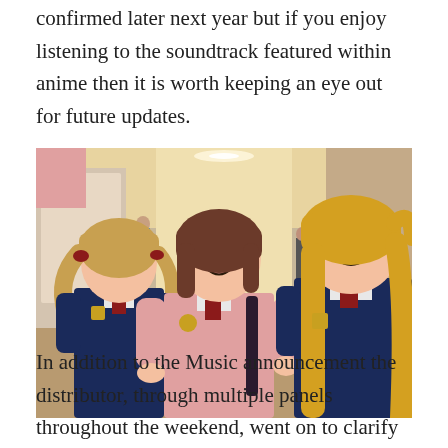confirmed later next year but if you enjoy listening to the soundtrack featured within anime then it is worth keeping an eye out for future updates.
[Figure (illustration): Anime illustration showing three female characters standing in what appears to be a mall or shopping center. The character on the left has light brown twin-tails and wears a dark blue school uniform with a red ribbon. The character in the center has short brown hair and wears a pink sweater with a red ribbon. The character on the right has long blonde hair and wears a dark blue school uniform with a red ribbon. Background shows a bright indoor shopping area.]
In addition to the Music announcement the distributor, through multiple panels throughout the weekend, went on to clarify some future anime titles. In this case Anime